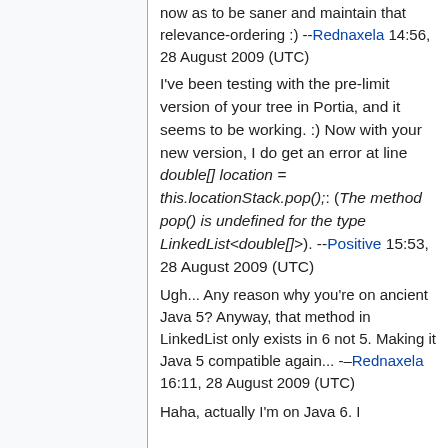now as to be saner and maintain that relevance-ordering :) --Rednaxela 14:56, 28 August 2009 (UTC)
I've been testing with the pre-limit version of your tree in Portia, and it seems to be working. :) Now with your new version, I do get an error at line double[] location = this.locationStack.pop();: (The method pop() is undefined for the type LinkedList<double[]>). --Positive 15:53, 28 August 2009 (UTC)
Ugh... Any reason why you're on ancient Java 5? Anyway, that method in LinkedList only exists in 6 not 5. Making it Java 5 compatible again... --Rednaxela 16:11, 28 August 2009 (UTC)
Haha, actually I'm on Java 6. I